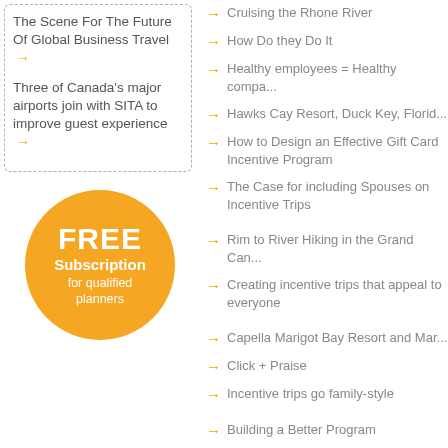The Scene For The Future Of Global Business Travel →
Three of Canada's major airports join with SITA to improve guest experience →
[Figure (infographic): Orange circle badge reading FREE Subscription for qualified planners]
→ Cruising the Rhone River
→ How Do they Do It
→ Healthy employees = Healthy compa...
→ Hawks Cay Resort, Duck Key, Florid...
→ How to Design an Effective Gift Card Incentive Program
→ The Case for including Spouses on Incentive Trips
→ Rim to River Hiking in the Grand Can...
→ Creating incentive trips that appeal to everyone
→ Capella Marigot Bay Resort and Mar...
→ Click + Praise
→ Incentive trips go family-style
→ Building a Better Program
→ Indulge Me!